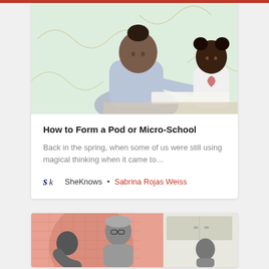[Figure (photo): A woman and a young girl with hair buns working together on writing, against a light mint green background with decorative line patterns]
How to Form a Pod or Micro-School
Back in the spring, when some of us were still using magical thinking when it came to...
SheKnows • Sabrina Rojas Weiss
[Figure (photo): A woman with glasses and children working in a kitchen setting, with a pink/salmon background with a large circle and grid pattern overlay]